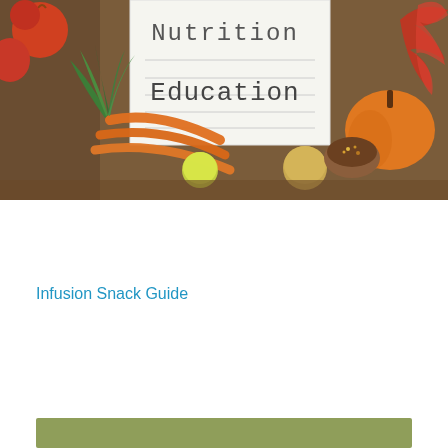[Figure (photo): A nutrition education themed photo showing a whiteboard sign reading 'Nutrition Education' surrounded by colorful autumn vegetables and fruits: carrots with green tops, apples, pumpkins, onion, spice bowl, and autumn leaves on a wooden background.]
Infusion Snack Guide
[Figure (other): Olive/sage green decorative bar at the bottom of the page]